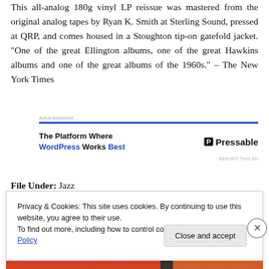This all-analog 180g vinyl LP reissue was mastered from the original analog tapes by Ryan K. Smith at Sterling Sound, pressed at QRP, and comes housed in a Stoughton tip-on gatefold jacket. “One of the great Ellington albums, one of the great Hawkins albums and one of the great albums of the 1960s.” – The New York Times
[Figure (other): Advertisement banner for Pressable: 'The Platform Where WordPress Works Best' with Pressable logo]
File Under: Jazz
Privacy & Cookies: This site uses cookies. By continuing to use this website, you agree to their use.
To find out more, including how to control cookies, see here: Cookie Policy